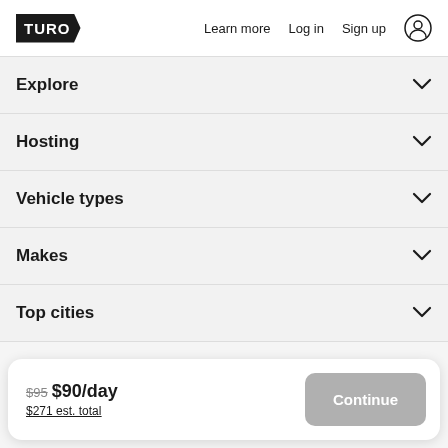TURO  Learn more  Log in  Sign up
Explore
Hosting
Vehicle types
Makes
Top cities
$95 $90/day  $271 est. total  Continue